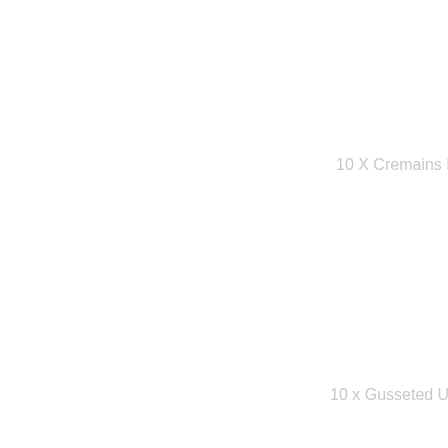10 X Cremains Bags
10 x Gusseted Urn Ba